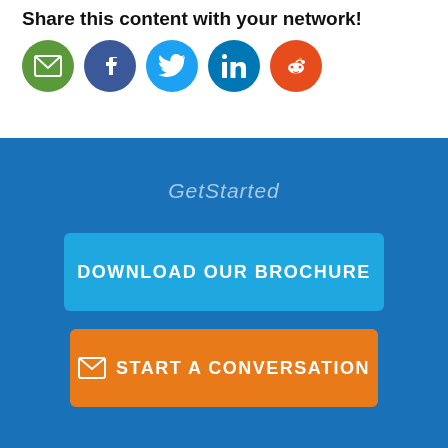fulfillment solution of your own.
Share this content with your network!
[Figure (infographic): Row of five social media sharing icons: email (green), Facebook (dark blue), Twitter (light blue), LinkedIn (blue), Reddit (red)]
GetStarted
[Figure (infographic): Blue button labeled DOWNLOAD OUR BROCHURE]
[Figure (infographic): Orange button with mail icon labeled START A CONVERSATION]